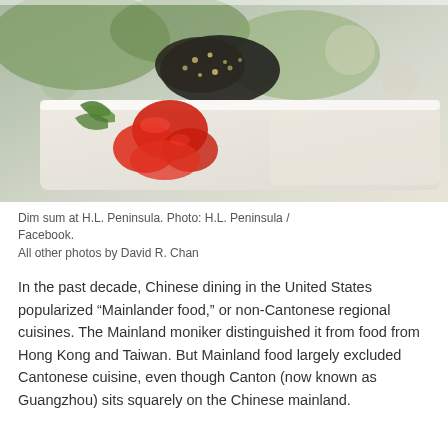[Figure (photo): Close-up photo of dim sum food on a white serving dish, with red peppers and green garnish visible, slightly blurred/bokeh style.]
Dim sum at H.L. Peninsula. Photo: H.L. Peninsula / Facebook.
All other photos by David R. Chan
In the past decade, Chinese dining in the United States popularized “Mainlander food,” or non-Cantonese regional cuisines. The Mainland moniker distinguished it from food from Hong Kong and Taiwan. But Mainland food largely excluded Cantonese cuisine, even though Canton (now known as Guangzhou) sits squarely on the Chinese mainland.